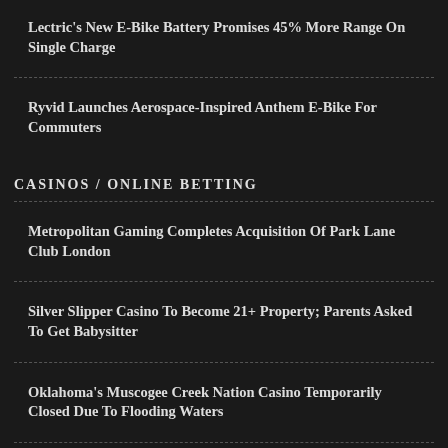Lectric's New E-Bike Battery Promises 45% More Range On Single Charge
Ryvid Launches Aerospace-Inspired Anthem E-Bike For Commuters
CASINOS / ONLINE BETTING
Metropolitan Gaming Completes Acquisition Of Park Lane Club London
Silver Slipper Casino To Become 21+ Property; Parents Asked To Get Babysitter
Oklahoma's Muscogee Creek Nation Casino Temporarily Closed Due To Flooding Waters
New York State 2023 Budget Includes Three Casino Licenses For Downstate Region
William Hill Wants Nevada Casino Control Board To Pursue Role...